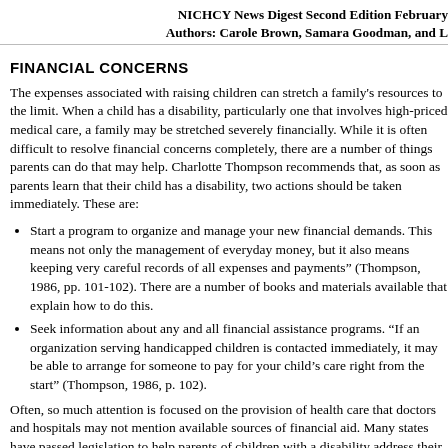NICHCY News Digest Second Edition February Authors: Carole Brown, Samara Goodman, and L
FINANCIAL CONCERNS
The expenses associated with raising children can stretch a family's resources to the limit. When a child has a disability, particularly one that involves high-priced medical care, a family may be stretched severely financially. While it is often difficult to resolve financial concerns completely, there are a number of things parents can do that may help. Charlotte Thompson recommends that, as soon as parents learn that their child has a disability, two actions should be taken immediately. These are:
Start a program to organize and manage your new financial demands. This means not only the management of everyday money, but it also means keeping very careful records of all expenses and payments" (Thompson, 1986, pp. 101-102). There are a number of books and materials available that explain how to do this.
Seek information about any and all financial assistance programs. "If an organization serving handicapped children is contacted immediately, it may be able to arrange for someone to pay for your child's care right from the start" (Thompson, 1986, p. 102).
Often, so much attention is focused on the provision of health care that doctors and hospitals may not mention available sources of financial aid. Many states have passed legislation to help parents of children with a disability address their financial concerns, but parents will have to be "assertive and persistent" to get the answers they need.
Many children with disabilities are eligible to receive Supplemental Security Income (SSI) based upon their disability. A recent Supreme Court decision (Sullivan v. Zebley) has changed the eligibility requirements for these benefits. Because of these changes, many more children may qualify than in the past. Some children who formerly were denied benefits (i.e., after the date of the ruling) are eligible for back benefits. Therefore, it is a good idea for all families with a child who has a disability to apply for SSI. If a child is found eligible for SSI, he or she is